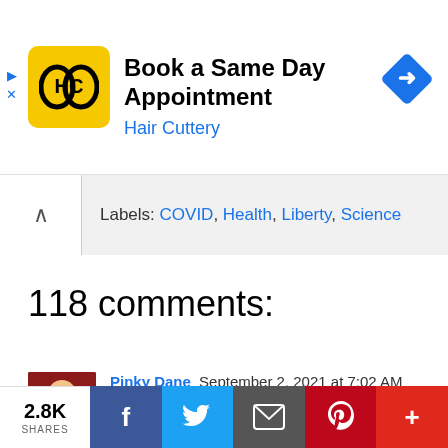[Figure (screenshot): Hair Cuttery advertisement banner with yellow HC logo, text 'Book a Same Day Appointment' and 'Hair Cuttery' in blue, and a blue navigation diamond icon]
Labels: COVID, Health, Liberty, Science
118 comments:
Pinky Dane September 2, 2021 at 7:02 AM
Brilliant essay! Thank you Julius for all y... of the sleeping lions out there. I think th...
Reply
2.8K SHARES | Facebook | Twitter | Email | Pinterest | More